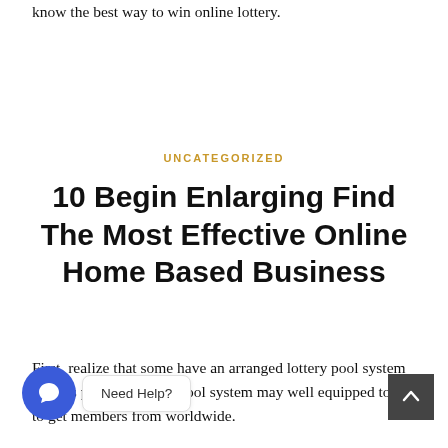know the best way to win online lottery.
UNCATEGORIZED
10 Begin Enlarging Find The Most Effective Online Home Based Business
First, realize that some have an arranged lottery pool system utilizes players get this pool system may well equipped to see to get members from worldwide.